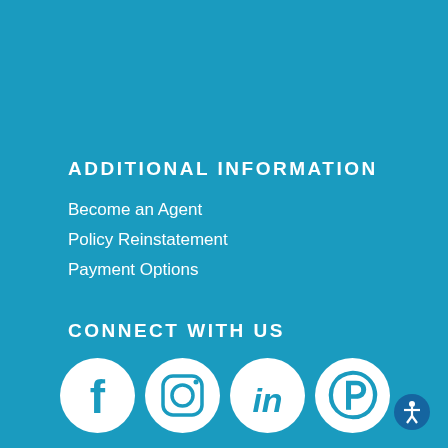ADDITIONAL INFORMATION
Become an Agent
Policy Reinstatement
Payment Options
CONNECT WITH US
[Figure (logo): Social media icons: Facebook, Instagram, LinkedIn, Pinterest]
[Figure (illustration): Accessibility icon button (person with arms out in circle) in bottom right corner]